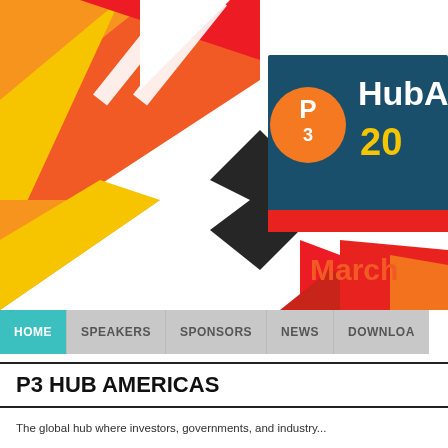[Figure (illustration): P3 HubAmericas event banner with colorful geometric/triangular design in red, orange, yellow on the left, and a dark teal box with P3 orange circle logo and 'HubA' text and '20' in gold, plus 'March' in orange text below. Navigation bar with HOME (teal), SPEAKERS, SPONSORS, NEWS, DOWNLOA (grey) tabs.]
P3 HUB AMERICAS
The global hub where investors, governments, and industry...